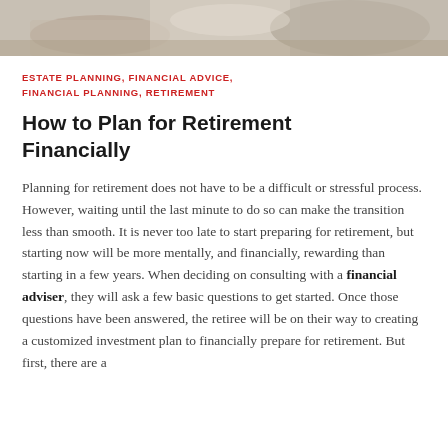[Figure (photo): Cropped photo of people at a table, presumably in a financial planning or business meeting context, showing hands and papers.]
ESTATE PLANNING, FINANCIAL ADVICE, FINANCIAL PLANNING, RETIREMENT
How to Plan for Retirement Financially
Planning for retirement does not have to be a difficult or stressful process. However, waiting until the last minute to do so can make the transition less than smooth. It is never too late to start preparing for retirement, but starting now will be more mentally, and financially, rewarding than starting in a few years. When deciding on consulting with a financial adviser, they will ask a few basic questions to get started. Once those questions have been answered, the retiree will be on their way to creating a customized investment plan to financially prepare for retirement. But first, there are a